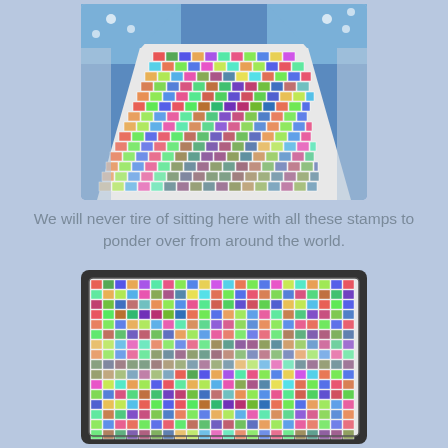[Figure (photo): A large collection of colorful postage stamps from around the world arranged on a flat surface, photographed from above at an angle, with a blue floral fabric visible in the background.]
We will never tire of sitting here with all these stamps to ponder over from around the world.
[Figure (photo): A close-up overhead photograph of a large flat surface covered with hundreds of colorful postage stamps from various countries, arranged in a dense mosaic pattern.]